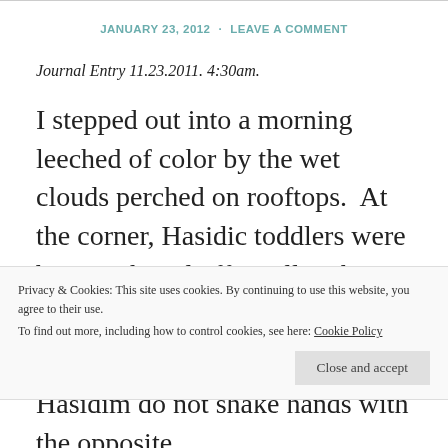JANUARY 23, 2012 · LEAVE A COMMENT
Journal Entry 11.23.2011. 4:30am.
I stepped out into a morning leeched of color by the wet clouds perched on rooftops.  At the corner, Hasidic toddlers were being ushered off a yellow bus and into the preschool.  They stumbled on tiny legs, uncalibrated like miniature stilts they were getting used to.  All of
Privacy & Cookies: This site uses cookies. By continuing to use this website, you agree to their use.
To find out more, including how to control cookies, see here: Cookie Policy
Close and accept
Hasidim do not shake hands with the opposite